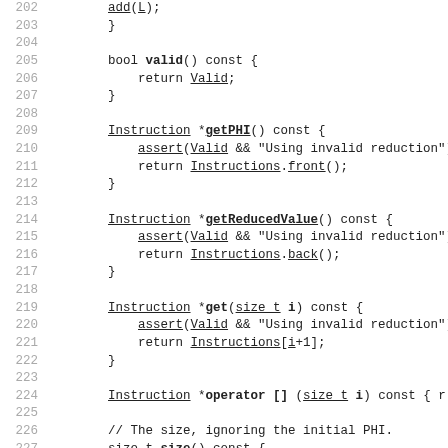202        add(L);
203        }
204        
205        bool valid() const {
206            return Valid;
207        }
208        
209        Instruction *getPHI() const {
210            assert(Valid && "Using invalid reduction");
211            return Instructions.front();
212        }
213        
214        Instruction *getReducedValue() const {
215            assert(Valid && "Using invalid reduction");
216            return Instructions.back();
217        }
218        
219        Instruction *get(size_t i) const {
220            assert(Valid && "Using invalid reduction");
221            return Instructions[i+1];
222        }
223        
224        Instruction *operator [] (size_t i) const { r
225        
226        // The size, ignoring the initial PHI.
227        size_t size() const {
228            assert(Valid && "Using invalid reduction");
229            return Instructions.size()-1;
230        }
231        
232        ...